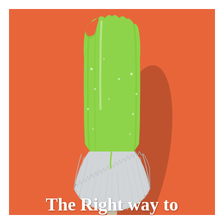[Figure (photo): A green popsicle/ice pop with a bite taken out of the top, held in a silver/foil cupcake liner, against a bright orange background.]
The Right way to